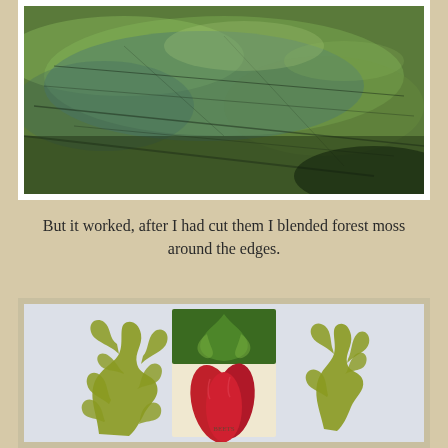[Figure (photo): Close-up photograph of green moss or textured green fabric/paper with dark veining patterns, placed on a white-bordered background.]
But it worked, after I had cut them I blended forest moss around the edges.
[Figure (photo): Craft project photo showing two olive-green decorative leaf/fern die-cut shapes flanking a central card/tag with red beet/vegetable image and green botanical print on a light blue-gray background.]